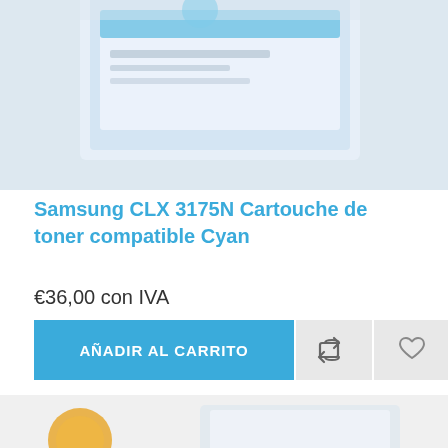[Figure (photo): Partial top view of a Samsung toner cartridge box in blue/white packaging, cropped at the top of the page]
Samsung CLX 3175N Cartouche de toner compatible Cyan
€36,00 con IVA
AÑADIR AL CARRITO
[Figure (photo): Partial bottom view of two toner cartridge products, one showing an orange/yellow element and another in white packaging, cropped at the bottom of the page]